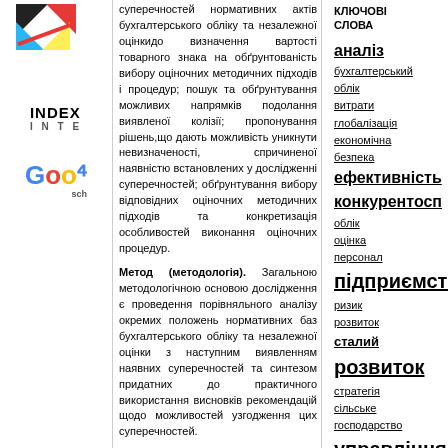[Figure (logo): Colorful geometric logo with black, red, blue, yellow triangles and INDEX text with INTE subtitle, plus Google Scholar logo]
суперечностей нормативних актів бухгалтерського обліку та незалежної оцінкидо визначення вартості товарного знака на обґрунтованість вибору оціночних методичних підходів і процедур; пошук та обґрунтування можливих напрямків подолання виявленої колізії; пропонування рішень,що дають можливість уникнути невизначеності, спричиненої наявністю встановлених у дослідженні суперечностей; обґрунтування вибору відповідних оціночних методичних підходів та конкретизація особливостей виконання оціночних процедур.

Метод (методологія). Загальною методологічною основою дослідження є проведення порівняльного аналізу окремих положень нормативних баз бухгалтерського обліку та незалежної оцінки з наступним виявленням наявних суперечностей та синтезом придатних до практичного використання висновків рекомендацій щодо можливостей узгодження цих суперечностей.

Результати. Проаналізовано та конкретизовано перелік витрат, які можуть бути враховані при застосуванні витратного підходу до оцінки вартості товарного знака. Виявлено, що ці види витрат з точки зору чинної законодавчо-нормативної бази бухгалтерського обліку не вважаються нематеріальними
КЛЮЧОВІ СЛОВА
аналіз
бухгалтерський
облік
витрати
глобалізація
економічна
безпека
ефективність
конкурентосп
облік
оцінка
персонал
підприємство
ризик
розвиток
сталий
розвиток
стратегія
сільське
господарство
управління
інвестиції
інноваційна
діяльність
інноваційний
розвиток